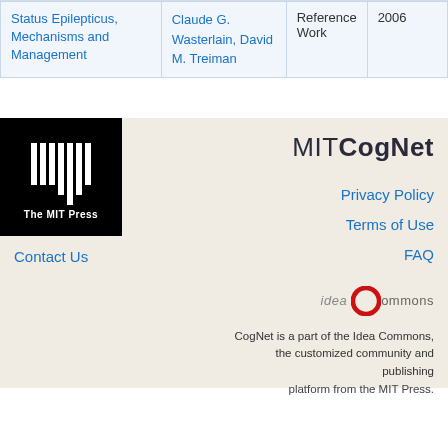|  |  |  |  |
| --- | --- | --- | --- |
| Status Epilepticus, Mechanisms and Management | Claude G. Wasterlain, David M. Treiman | Reference Work | 2006 |
[Figure (logo): The MIT Press logo — black rectangle with white vertical bars resembling a barcode/columns, with 'The MIT Press' text below]
MITCogNet
Privacy Policy
Terms of Use
FAQ
Contact Us
[Figure (logo): idea Commons logo — 'idea' in gray italic, large red C circle, 'ommons' in gray]
CogNet is a part of the Idea Commons, the customized community and publishing platform from the MIT Press.